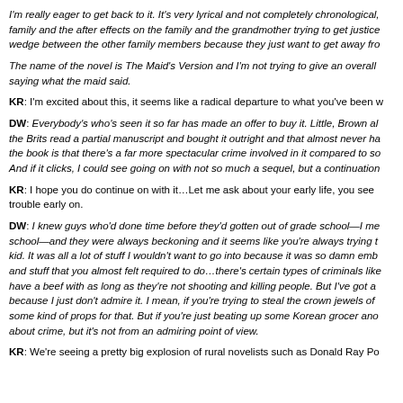I'm really eager to get back to it. It's very lyrical and not completely chronological, family and the after effects on the family and the grandmother trying to get justice wedge between the other family members because they just want to get away fro
The name of the novel is The Maid's Version and I'm not trying to give an overall saying what the maid said.
KR: I'm excited about this, it seems like a radical departure to what you've been w
DW: Everybody's who's seen it so far has made an offer to buy it. Little, Brown al the Brits read a partial manuscript and bought it outright and that almost never ha the book is that there's a far more spectacular crime involved in it compared to so And if it clicks, I could see going on with not so much a sequel, but a continuation
KR: I hope you do continue on with it…Let me ask about your early life, you see trouble early on.
DW: I knew guys who'd done time before they'd gotten out of grade school—I me school—and they were always beckoning and it seems like you're always trying t kid. It was all a lot of stuff I wouldn't want to go into because it was so damn emb and stuff that you almost felt required to do…there's certain types of criminals like have a beef with as long as they're not shooting and killing people. But I've got a because I just don't admire it. I mean, if you're trying to steal the crown jewels of some kind of props for that. But if you're just beating up some Korean grocer ano about crime, but it's not from an admiring point of view.
KR: We're seeing a pretty big explosion of rural novelists such as Donald Ray Po